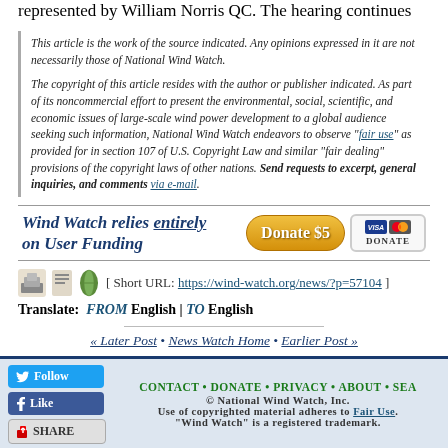represented by William Norris QC. The hearing continues
This article is the work of the source indicated. Any opinions expressed in it are not necessarily those of National Wind Watch.

The copyright of this article resides with the author or publisher indicated. As part of its noncommercial effort to present the environmental, social, scientific, and economic issues of large-scale wind power development to a global audience seeking such information, National Wind Watch endeavors to observe "fair use" as provided for in section 107 of U.S. Copyright Law and similar "fair dealing" provisions of the copyright laws of other nations. Send requests to excerpt, general inquiries, and comments via e-mail.
[Figure (infographic): Wind Watch donation banner: 'Wind Watch relies entirely on User Funding' with Donate $5 button and Visa/Mastercard icons]
[ Short URL: https://wind-watch.org/news/?p=57104 ]
Translate: FROM English | TO English
« Later Post • News Watch Home • Earlier Post »
CONTACT • DONATE • PRIVACY • ABOUT • SEA... © National Wind Watch, Inc. Use of copyrighted material adheres to Fair Use. "Wind Watch" is a registered trademark.